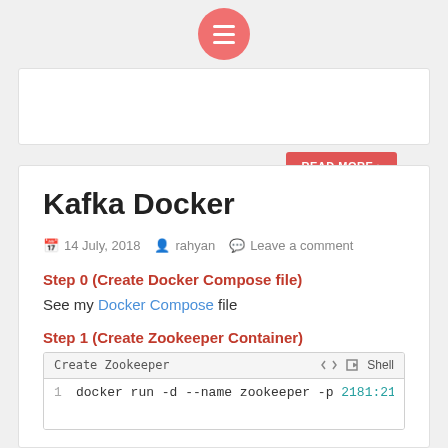[Figure (other): Hamburger menu button - coral/salmon colored circular button with three horizontal white lines]
[Figure (other): Partial card with READ MORE red button visible at top of page]
Kafka Docker
14 July, 2018   rahyan   Leave a comment
Step 0 (Create Docker Compose file)
See my Docker Compose file
Step 1 (Create Zookeeper Container)
Create Zookeeper   Shell
1   docker run -d --name zookeeper -p 2181:2181 -p 28...